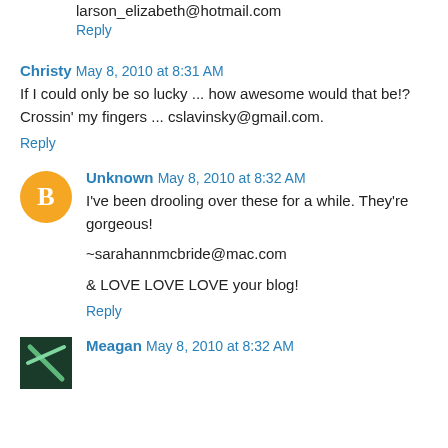larson_elizabeth@hotmail.com
Reply
Christy May 8, 2010 at 8:31 AM
If I could only be so lucky ... how awesome would that be!? Crossin' my fingers ... cslavinsky@gmail.com.
Reply
Unknown May 8, 2010 at 8:32 AM
I've been drooling over these for a while. They're gorgeous!
~sarahannmcbride@mac.com
& LOVE LOVE LOVE your blog!
Reply
Meagan May 8, 2010 at 8:32 AM